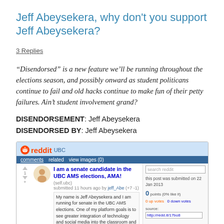Jeff Abeysekera, why don't you support Jeff Abeysekera?
3 Replies
“Disendorsed” is a new feature we’ll be running throughout the elections season, and possibly onward as student politicans continue to fail and old hacks continue to make fun of their petty failures. Ain’t student involvement grand?
DISENDORSEMENT: Jeff Abeysekera
DISENDORSED BY: Jeff Abeysekera
[Figure (screenshot): Screenshot of a Reddit UBC post titled 'I am a senate candidate in the UBC AMS elections, AMA!' by Jeff Abeysekera, showing 0 points and a post body about running for senate and platform goals around technology integration. The sidebar shows search reddit and post metadata including a link to http://redd.it/17bo8.]